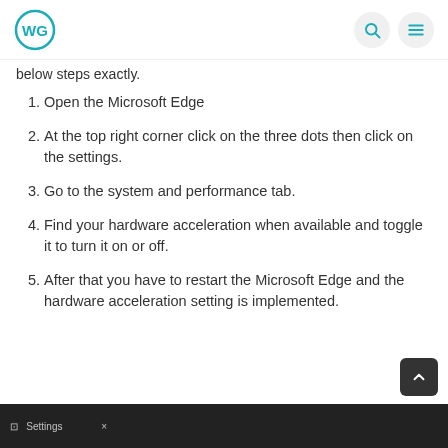WG logo with search and menu icons
below steps exactly.
Open the Microsoft Edge
At the top right corner click on the three dots then click on the settings.
Go to the system and performance tab.
Find your hardware acceleration when available and toggle it to turn it on or off.
After that you have to restart the Microsoft Edge and the hardware acceleration setting is implemented.
[Figure (screenshot): Screenshot of browser settings tab visible at the bottom of the page]